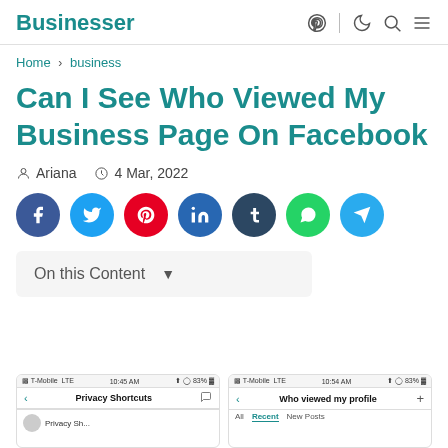Businesser
Home > business
Can I See Who Viewed My Business Page On Facebook
Ariana  4 Mar, 2022
[Figure (infographic): Row of 7 social share buttons: Facebook (dark blue), Twitter (light blue), Pinterest (red), LinkedIn (dark blue), Tumblr (dark navy), WhatsApp (green), Telegram (blue)]
On this Content
[Figure (screenshot): Two mobile screenshots side by side. Left: T-Mobile LTE 10:45 AM 83% - Privacy Shortcuts screen. Right: T-Mobile LTE 10:54 AM 83% - Who viewed my profile screen with tabs All, Recent, New Posts]